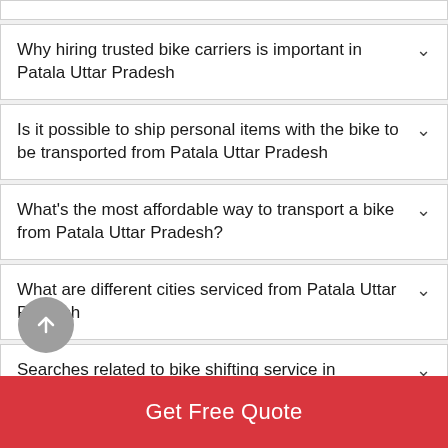Why hiring trusted bike carriers is important in Patala Uttar Pradesh
Is it possible to ship personal items with the bike to be transported from Patala Uttar Pradesh
What's the most affordable way to transport a bike from Patala Uttar Pradesh?
What are different cities serviced from Patala Uttar Pradesh
Searches related to bike shifting service in
Get Free Quote